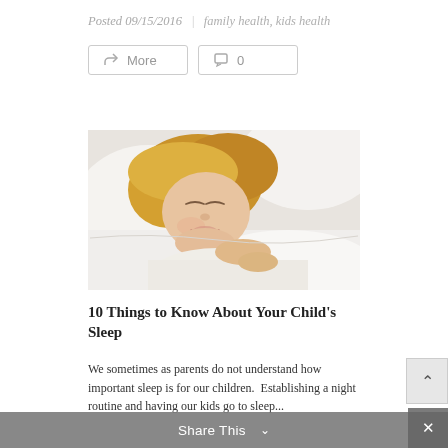Posted 09/15/2016  |  family health, kids health
[Figure (photo): A young girl with blonde hair sleeping peacefully on a white pillow, wearing a white shirt, eyes closed with a slight smile]
10 Things to Know About Your Child's Sleep
We sometimes as parents do not understand how important sleep is for our children.  Establishing a night routine and having our kids go to sleep...
Share This  ∨